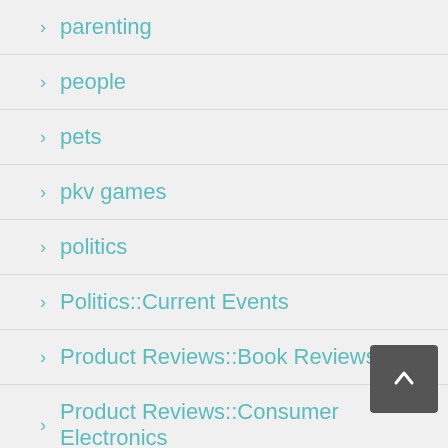parenting
people
pets
pkv games
politics
Politics::Current Events
Product Reviews::Book Reviews
Product Reviews::Consumer Electronics